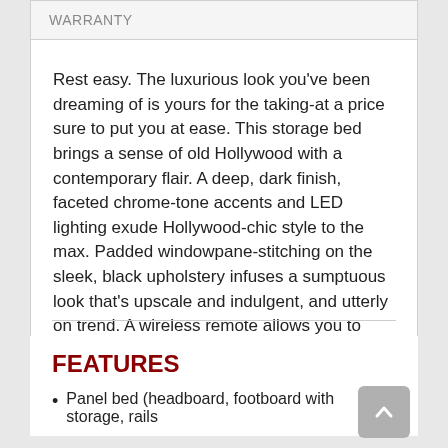WARRANTY
Rest easy. The luxurious look you've been dreaming of is yours for the taking-at a price sure to put you at ease. This storage bed brings a sense of old Hollywood with a contemporary flair. A deep, dark finish, faceted chrome-tone accents and LED lighting exude Hollywood-chic style to the max. Padded windowpane-stitching on the sleek, black upholstery infuses a sumptuous look that's upscale and indulgent, and utterly on trend. A wireless remote allows you to control the color and brightness to suit the mood.
FEATURES
Panel bed (headboard, footboard with storage, rails